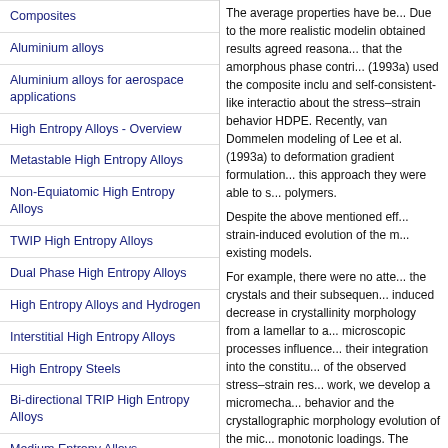Composites
Aluminium alloys
Aluminium alloys for aerospace applications
High Entropy Alloys - Overview
Metastable High Entropy Alloys
Non-Equiatomic High Entropy Alloys
TWIP High Entropy Alloys
Dual Phase High Entropy Alloys
High Entropy Alloys and Hydrogen
Interstitial High Entropy Alloys
High Entropy Steels
Bi-directional TRIP High Entropy Alloys
Medium Entropy Alloys
Combinatorial discovery of high-entropy alloys
Titanium alloys
The average properties have be... Due to the more realistic modeling obtained results agreed reasona... that the amorphous phase contri... (1993a) used the composite inclu... and self-consistent-like interactio... about the stress–strain behavior HDPE. Recently, van Dommelen modeling of Lee et al. (1993a) to deformation gradient formulation... this approach they were able to s... polymers.
Despite the above mentioned eff... strain-induced evolution of the m... existing models.
For example, there were no atte... the crystals and their subsequen... induced decrease in crystallinity morphology from a lamellar to a... microscopic processes influence... their integration into the constitu... of the observed stress–strain res... work, we develop a microcha... behavior and the crystallographic morphology evolution of the mic... monotonic loadings. The materia... of simplicity, elasticity is neglecte...